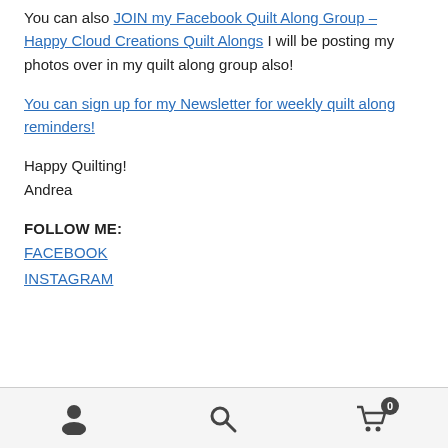You can also JOIN my Facebook Quilt Along Group – Happy Cloud Creations Quilt Alongs I will be posting my photos over in my quilt along group also!
You can sign up for my Newsletter for weekly quilt along reminders!
Happy Quilting!
Andrea
FOLLOW ME:
FACEBOOK
INSTAGRAM
Account | Search | Cart (0)